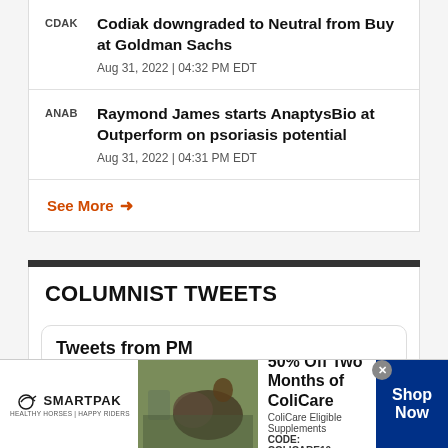CDAK – Codiak downgraded to Neutral from Buy at Goldman Sachs – Aug 31, 2022 | 04:32 PM EDT
ANAB – Raymond James starts AnaptysBio at Outperform on psoriasis potential – Aug 31, 2022 | 04:31 PM EDT
See More →
COLUMNIST TWEETS
Tweets from PM